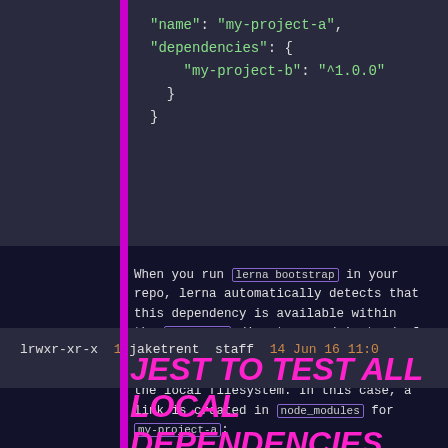[Figure (screenshot): Code block showing JSON with name: my-project-a, dependencies: { my-project-b: ^1.0.0 }]
When you run lerna bootstrap in your repo, lerna automatically detects that this dependency is available within the packages/ directory and instead of trying to download these packages from npm, takes care of the symlinking on the local filesystem. In this case, a link is created in node_modules for my-project-a:
[Figure (screenshot): Terminal output: lrwxr-xr-x  1 jaketrent  staff  14 Jun 16 11:0]
JEST TO TEST ALL LOCAL DEPENDENCIES